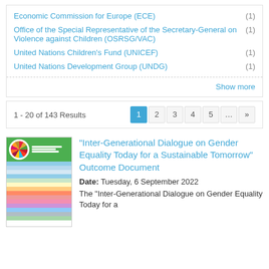Economic Commission for Europe (ECE) (1)
Office of the Special Representative of the Secretary-General on Violence against Children (OSRSG/VAC) (1)
United Nations Children's Fund (UNICEF) (1)
United Nations Development Group (UNDG) (1)
Show more
1 - 20 of 143 Results
[Figure (screenshot): Thumbnail image of a colorful document with SDG wheel icon and colored horizontal stripes]
"Inter-Generational Dialogue on Gender Equality Today for a Sustainable Tomorrow" Outcome Document
Date: Tuesday, 6 September 2022
The "Inter-Generational Dialogue on Gender Equality Today for a